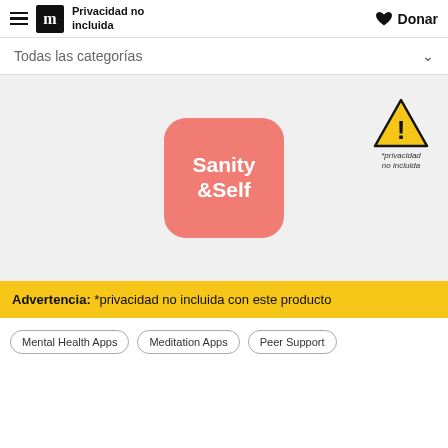Privacidad no incluida | Donar
Todas las categorías
[Figure (logo): Sanity & Self app icon — rounded square with salmon/coral background and white bold text reading 'Sanity &:Self']
[Figure (other): Warning triangle (yellow/black exclamation mark) with label '*privacidad no incluida']
Advertencia: *privacidad no incluida con este producto
Mental Health Apps
Meditation Apps
Peer Support